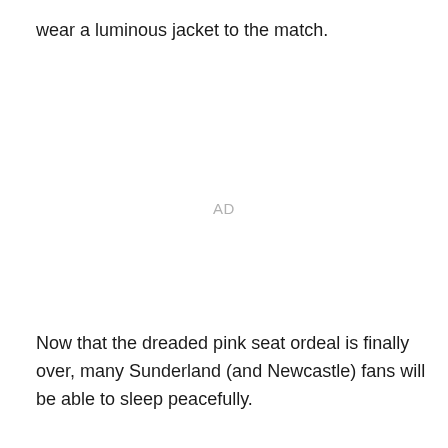wear a luminous jacket to the match.
AD
Now that the dreaded pink seat ordeal is finally over, many Sunderland (and Newcastle) fans will be able to sleep peacefully.